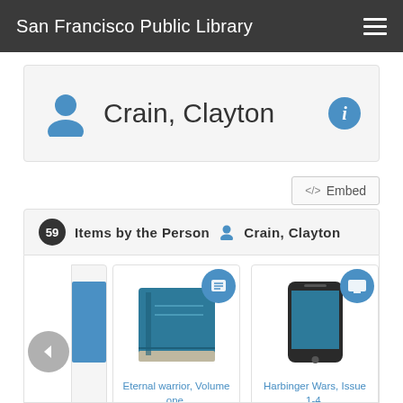San Francisco Public Library
Crain, Clayton
</> Embed
59 Items by the Person Crain, Clayton
[Figure (screenshot): Book cover card for Eternal warrior, Volume one, with book icon badge]
[Figure (screenshot): Book cover card for Harbinger Wars, Issue 1-4, with tablet icon badge]
Eternal warrior, Volume one,
Harbinger Wars, Issue 1-4,